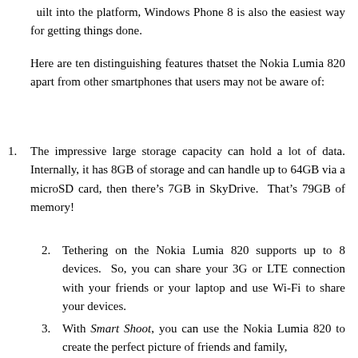built into the platform, Windows Phone 8 is also the easiest way for getting things done.
Here are ten distinguishing features thatset the Nokia Lumia 820 apart from other smartphones that users may not be aware of:
The impressive large storage capacity can hold a lot of data. Internally, it has 8GB of storage and can handle up to 64GB via a microSD card, then there’s 7GB in SkyDrive. That’s 79GB of memory!
Tethering on the Nokia Lumia 820 supports up to 8 devices. So, you can share your 3G or LTE connection with your friends or your laptop and use Wi-Fi to share your devices.
With Smart Shoot, you can use the Nokia Lumia 820 to create the perfect picture of friends and family,